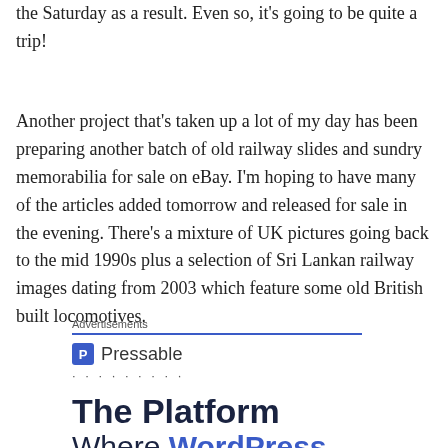the Saturday as a result. Even so, it's going to be quite a trip!
Another project that's taken up a lot of my day has been preparing another batch of old railway slides and sundry memorabilia for sale on eBay. I'm hoping to have many of the articles added tomorrow and released for sale in the evening. There's a mixture of UK pictures going back to the mid 1990s plus a selection of Sri Lankan railway images dating from 2003 which feature some old British built locomotives.
[Figure (other): Pressable advertisement block with 'Advertisements' label, blue rule, Pressable logo with icon and name, dots row, and 'The Platform Where WordPress' heading text]